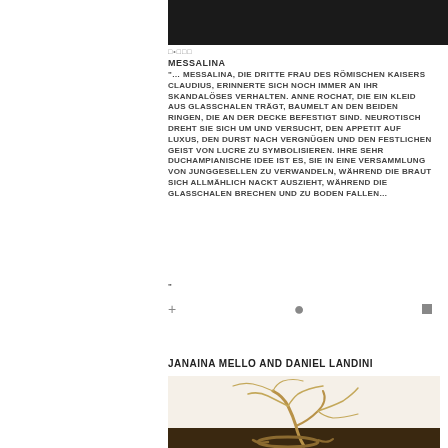[Figure (photo): Dark photograph of a performance artwork, mostly black]
□•□□□
MESSALINA
"… MESSALINA, DIE DRITTE FRAU DES RÖMISCHEN KAISERS CLAUDIUS, ERINNERTE SICH NOCH IMMER AN IHR SKANDALÖSES VERHALTEN. ANNE ROCHAT, DIE EIN KLEID AUS GLASSCHALEN TRÄGT, BAUMELT AN DEN BEIDEN RINGEN, DIE AN DER DECKE BEFESTIGT SIND. NEUROTISCH DREHT SIE SICH UM UND VERSUCHT, DEN APPETIT AUF LUXUS, DEN DURST NACH VERGNÜGEN UND DEN FESTLICHEN GEIST VON LUCRE ZU SYMBOLISIEREN. IHRE SEHR DUCHAMPIANISCHE IDEE IST ES, SIE IN EINE VERSAMMLUNG VON JUNGGESELLEN ZU VERWANDELN, WÄHREND DIE BRAUT SICH ALLMÄHLICH NACKT AUSZIEHT, WÄHREND DIE GLASSCHALEN BRECHEN UND ZU BODEN FALLEN…
"
JANAINA MELLO AND DANIEL LANDINI
[Figure (photo): Photo of a rope/fiber art installation resembling a tree, with rope braided trunk on dark tile floor and thin rope tendrils extending up a white wall]